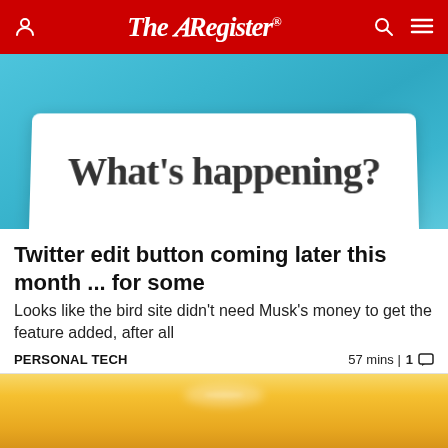The Register
[Figure (photo): Close-up of Twitter compose box showing 'What's happening?' prompt text on white card against blue background]
Twitter edit button coming later this month ... for some
Looks like the bird site didn't need Musk's money to get the feature added, after all
PERSONAL TECH   57 mins | 1
[Figure (illustration): Stylized cityscape silhouette against warm golden/orange sunset sky background]